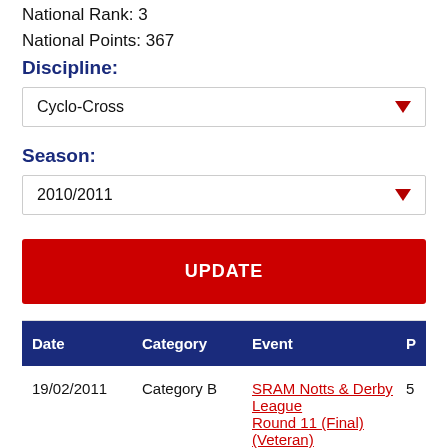National Rank: 3
National Points: 367
Discipline:
Cyclo-Cross
Season:
2010/2011
UPDATE
| Date | Category | Event | P |
| --- | --- | --- | --- |
| 19/02/2011 | Category B | SRAM Notts & Derby League Round 11 (Final) (Veteran) | 5 |